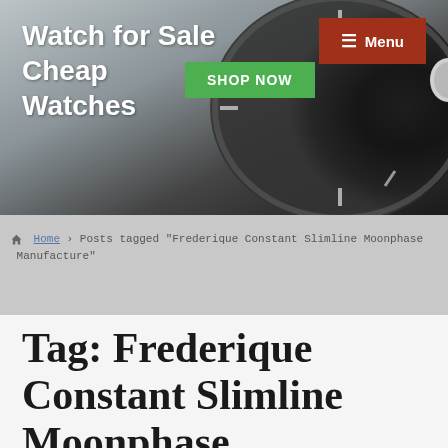Watch for Sale Cheap Watches
[Figure (screenshot): Website header banner with watch background image, site title 'Watch for Sale Cheap Watches', a green 'SHOP NOW' button, and a brown 'Menu' button in the top right corner.]
Home › Posts tagged "Frederique Constant Slimline Moonphase Manufacture"
Tag: Frederique Constant Slimline Moonphase Manufacture